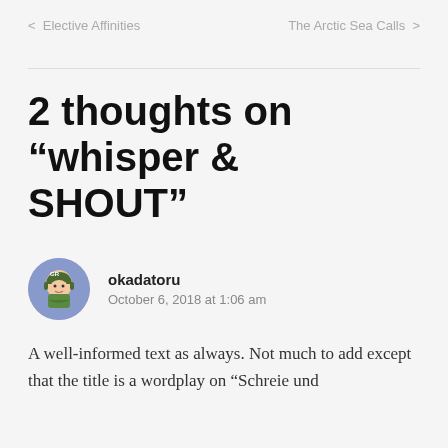< Elective Affinities
The Arctic Sea Calls >
2 thoughts on “whisper & SHOUT”
okadatoru
October 6, 2018 at 1:06 am
A well-informed text as always. Not much to add except that the title is a wordplay on “Schreie und